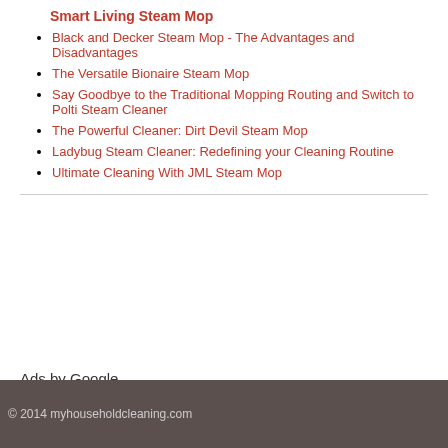Smart Living Steam Mop
Black and Decker Steam Mop - The Advantages and Disadvantages
The Versatile Bionaire Steam Mop
Say Goodbye to the Traditional Mopping Routing and Switch to Polti Steam Cleaner
The Powerful Cleaner: Dirt Devil Steam Mop
Ladybug Steam Cleaner: Redefining your Cleaning Routine
Ultimate Cleaning With JML Steam Mop
Ads by Google
© 2014 myhouseholdcleaning.com